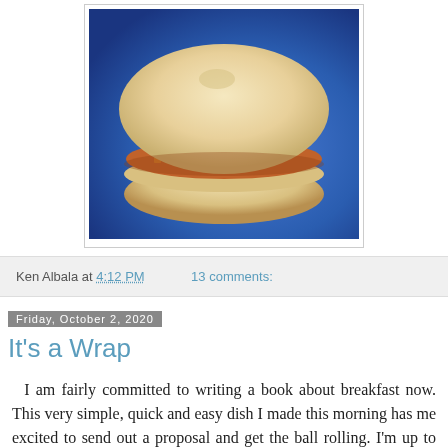[Figure (photo): A sandwich or burger with diced vegetable filling between two round bread buns, placed on a blue surface]
Ken Albala at 4:12 PM    13 comments:
Friday, October 2, 2020
It's a Wrap
I am fairly committed to writing a book about breakfast now. This very simple, quick and easy dish I made this morning has me excited to send out a proposal and get the ball rolling. I'm up to 16 recipes in the past few weeks, pretty